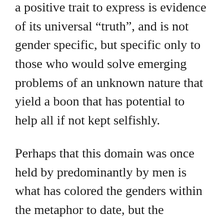a positive trait to express is evidence of its universal “truth”, and is not gender specific, but specific only to those who would solve emerging problems of an unknown nature that yield a boon that has potential to help all if not kept selfishly.
Perhaps that this domain was once held by predominantly by men is what has colored the genders within the metaphor to date, but the metaphor holds true gender roles swapped or even homogenized, it is simply the point of the metaphor that it is important, not the gender’s involved. Especially with LGBTQ story telling, the